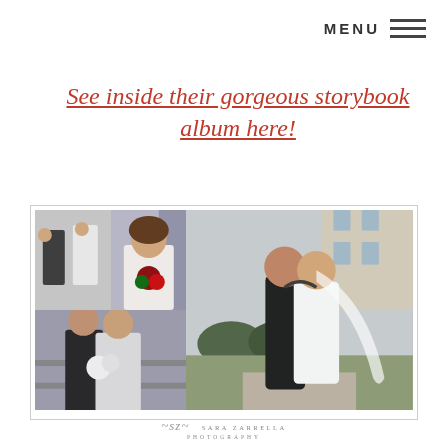MENU ≡
See inside their gorgeous storybook album here!
[Figure (photo): Wedding photo collage showing four images: bridesmaids getting ready, bride portrait with bouquet, couple embracing outdoors in winter, and a dance/embrace scene]
Sara Zarrella Photography logo